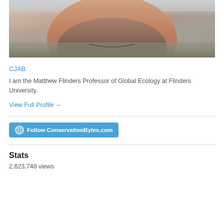[Figure (photo): Close-up photo of a bearded man's lower face, neck and upper torso wearing a collared shirt, with a grey/light background behind him.]
CJAB
I am the Matthew Flinders Professor of Global Ecology at Flinders University.
View Full Profile →
[Figure (other): Follow ConservationBytes.com button with WordPress icon]
Stats
2,623,748 views